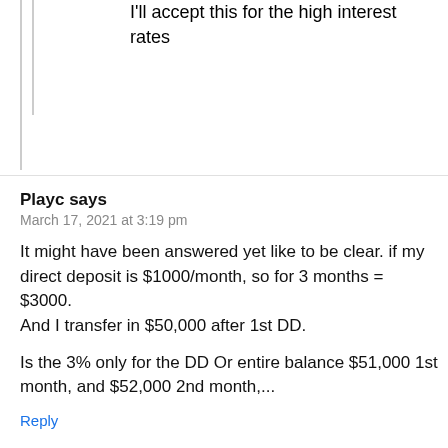I'll accept this for the high interest rates
Playc says
March 17, 2021 at 3:19 pm
It might have been answered yet like to be clear. if my direct deposit is $1000/month, so for 3 months = $3000.
And I transfer in $50,000 after 1st DD.
Is the 3% only for the DD Or entire balance $51,000 1st month, and $52,000 2nd month,...
Reply